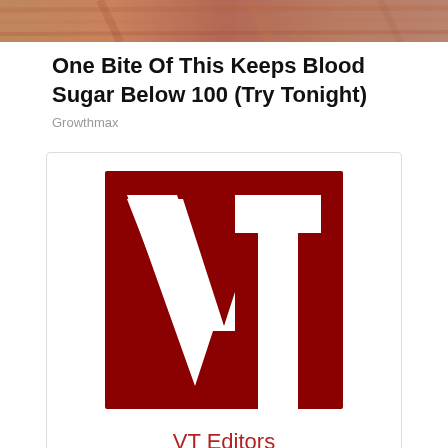[Figure (photo): Close-up photo of food/organic material with reddish-brown tones at the top of the page]
One Bite Of This Keeps Blood Sugar Below 100 (Try Tonight)
Growthmax
[Figure (logo): VT (Veterans Today) logo — dark red square with white 'VT' letters]
VT Editors
VT Editors is a General Posting account managed by Jim W. Dean and Gordon Duff. All content herein is owned and copyrighted by Jim W. Dean and Gordon Duff